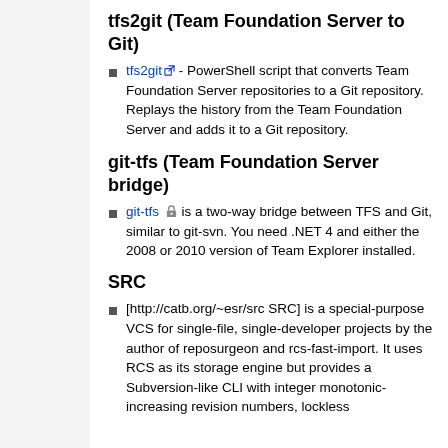tfs2git (Team Foundation Server to Git)
tfs2git - PowerShell script that converts Team Foundation Server repositories to a Git repository. Replays the history from the Team Foundation Server and adds it to a Git repository.
git-tfs (Team Foundation Server bridge)
git-tfs is a two-way bridge between TFS and Git, similar to git-svn. You need .NET 4 and either the 2008 or 2010 version of Team Explorer installed.
SRC
[http://catb.org/~esr/src SRC] is a special-purpose VCS for single-file, single-developer projects by the author of reposurgeon and rcs-fast-import. It uses RCS as its storage engine but provides a Subversion-like CLI with integer monotonic-increasing revision numbers, lockless